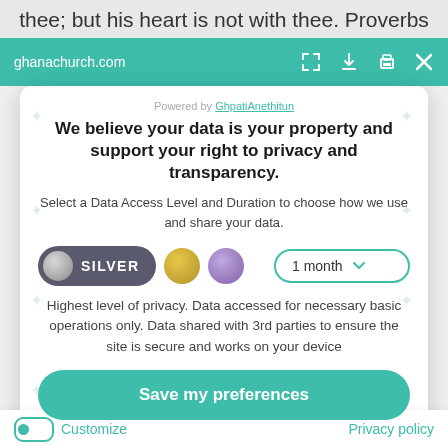thee; but his heart is not with thee. Proverbs
ghanachurch.com
Powered by GhpatiAnethitun
We believe your data is your property and support your right to privacy and transparency.
Select a Data Access Level and Duration to choose how we use and share your data.
SILVER  1 month
Highest level of privacy. Data accessed for necessary basic operations only. Data shared with 3rd parties to ensure the site is secure and works on your device
Save my preferences
Customize   Privacy policy